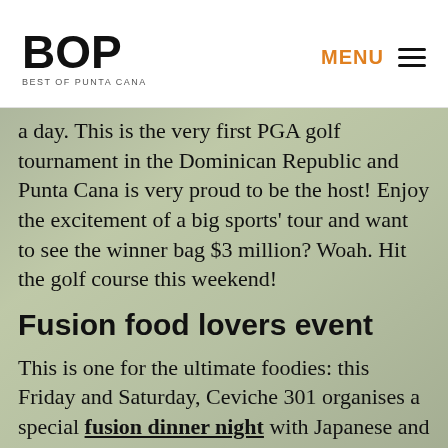BOP Best of Punta Cana | MENU
a day. This is the very first PGA golf tournament in the Dominican Republic and Punta Cana is very proud to be the host! Enjoy the excitement of a big sports' tour and want to see the winner bag $3 million? Woah. Hit the golf course this weekend!
Fusion food lovers event
This is one for the ultimate foodies: this Friday and Saturday, Ceviche 301 organises a special fusion dinner night with Japanese and Peruvian flavours. Discover the origins of this new gastronomic trend that has seduced the whole world, from 7 to 11 pm! Expect lots of fresh fish, avocado and sweet soy sensations.